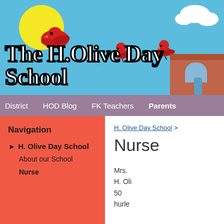[Figure (illustration): School website header banner with blue sky background, yellow sun, red cardinal birds, cartoon school building, and large stylized text 'The H. Olive Day School']
District  HOD Blog  FK Teachers  Parents
Navigation
H. Olive Day School
About our School
Nurse
H. Olive Day School >
Nurse
Mrs.
H. Oli
50
hurle